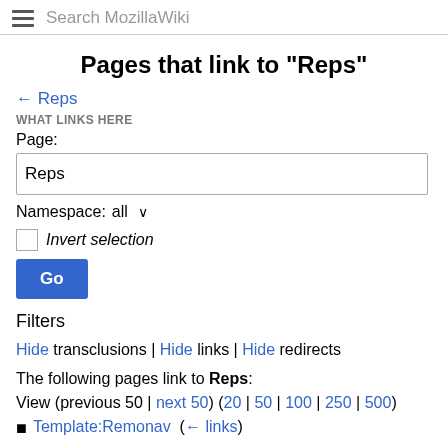Search MozillaWiki
Pages that link to "Reps"
← Reps
WHAT LINKS HERE
Page:
Reps
Namespace:  all ▾
Invert selection
Go
Filters
Hide transclusions | Hide links | Hide redirects
The following pages link to Reps:
View (previous 50 | next 50) (20 | 50 | 100 | 250 | 500)
Template:Remonav  (← links)